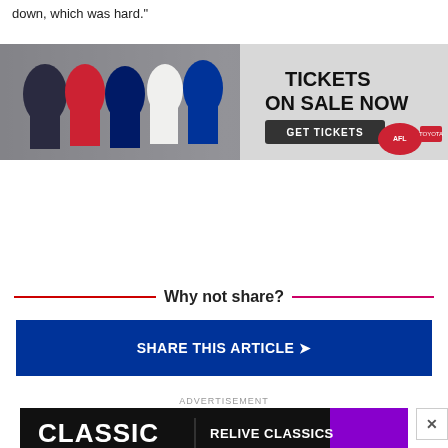down, which was hard."
[Figure (photo): AFL banner advertisement showing football players posing, with text 'TICKETS ON SALE NOW', a 'GET TICKETS' button, and AFL Toyota logos]
Why not share?
SHARE THIS ARTICLE →
ADVERTISEMENT
[Figure (photo): Classic Cast advertisement banner with dark background, 'CLASSIC CAST' logo on the left and 'RELIVE CLASSICS WITH THE STARS' text with purple accent on the right, with close button X]